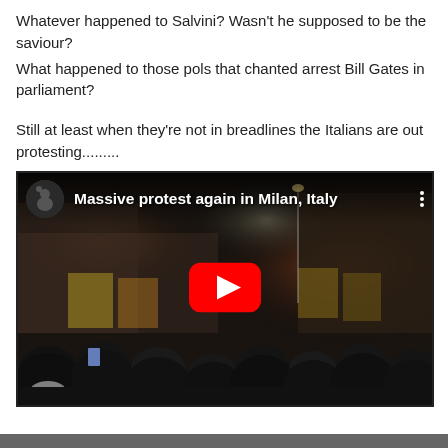Whatever happened to Salvini? Wasn't he supposed to be the saviour?
What happened to those pols that chanted arrest Bill Gates in parliament?
Still at least when they're not in breadlines the Italians are out protesting.........
[Figure (screenshot): YouTube video thumbnail showing a massive crowd protest at night in Milan, Italy. The video overlay shows a channel icon (dark circular avatar with figure), the title 'Massive protest again in Milan, Italy', a three-dot menu icon, and a large red YouTube play button in the center. The scene shows many people crowded together in a foggy/smoky night setting.]